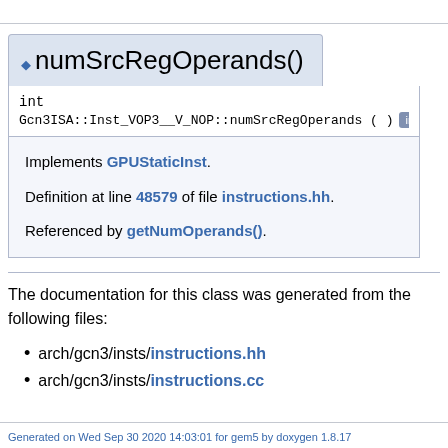numSrcRegOperands()
int
Gcn3ISA::Inst_VOP3__V_NOP::numSrcRegOperands ( )  inline  override
Implements GPUStaticInst.
Definition at line 48579 of file instructions.hh.
Referenced by getNumOperands().
The documentation for this class was generated from the following files:
arch/gcn3/insts/instructions.hh
arch/gcn3/insts/instructions.cc
Generated on Wed Sep 30 2020 14:03:01 for gem5 by doxygen 1.8.17